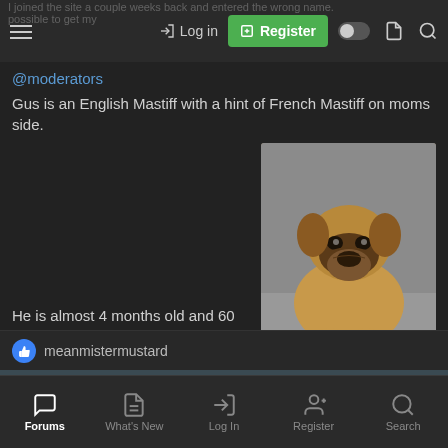I joined the site a couple weeks back and entered the wrong name. possible to get my ... @moderators
@moderators
Gus is an English Mastiff with a hint of French Mastiff on moms side.
[Figure (photo): A mastiff puppy sitting on concrete, tan/brown colored, looking at camera]
He is almost 4 months old and 60 pounds.
meanmistermustard
Michele
Super Moderator  Staff member
Mar 14, 2022  #2
Wel...me
Forums  What's New  Log In  Register  Search